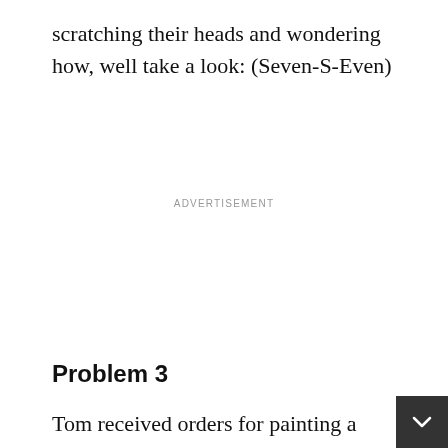scratching their heads and wondering how, well take a look: (Seven-S-Even)
ADVERTISEMENT
Problem 3
Tom received orders for painting a certain number